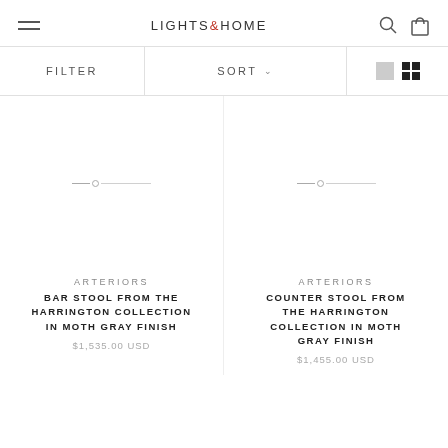LIGHTS&HOME
FILTER    SORT   (view options)
ARTERIORS
BAR STOOL FROM THE HARRINGTON COLLECTION IN MOTH GRAY FINISH
$1,535.00 USD
ARTERIORS
COUNTER STOOL FROM THE HARRINGTON COLLECTION IN MOTH GRAY FINISH
$1,455.00 USD